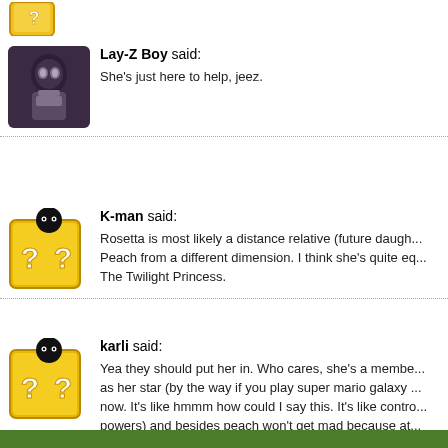[Figure (illustration): Yellow question block avatar (top, partial view)]
Lay-Z Boy said:
She's just here to help, jeez.
K-man said:
Rosetta is most likely a distance relative (future daugh... Peach from a different dimension. I think she's quite eq... The Twilight Princess.
karli said:
Yea they should put her in. Who cares, she's a membe... as her star (by the way if you play super mario galaxy ... now. It's like hmmm how could I say this. It's like contro... powers) and besides peach won't get mad because at... not daisy's ugly self trying to be all fun and tomboyish.... family just like princess noellie. If you know who prince...